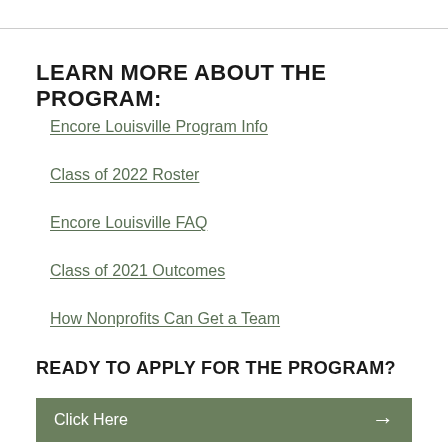LEARN MORE ABOUT THE PROGRAM:
Encore Louisville Program Info
Class of 2022 Roster
Encore Louisville FAQ
Class of 2021 Outcomes
How Nonprofits Can Get a Team
READY TO APPLY FOR THE PROGRAM?
Click Here →